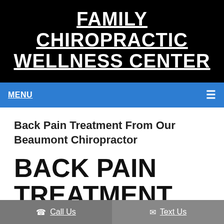FAMILY CHIROPRACTIC WELLNESS CENTER
MENU
Back Pain Treatment From Our Beaumont Chiropractor
BACK PAIN TREATMENT FROM OUR BEAUMONT
Call Us | Text Us